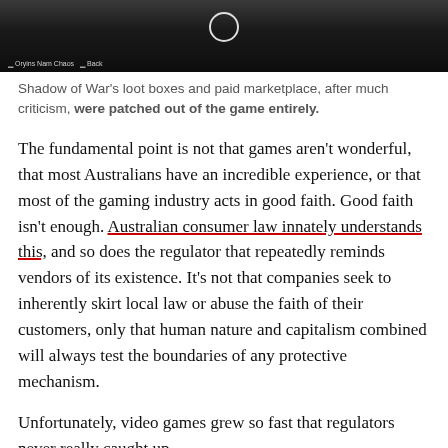[Figure (screenshot): Dark screenshot from Shadow of War video game showing a dim landscape with a circular UI element at top center, and small overlay buttons at bottom left]
Shadow of War's loot boxes and paid marketplace, after much criticism, were patched out of the game entirely.
The fundamental point is not that games aren't wonderful, that most Australians have an incredible experience, or that most of the gaming industry acts in good faith. Good faith isn't enough. Australian consumer law innately understands this, and so does the regulator that repeatedly reminds vendors of its existence. It's not that companies seek to inherently skirt local law or abuse the faith of their customers, only that human nature and capitalism combined will always test the boundaries of any protective mechanism.
Unfortunately, video games grew so fast that regulators never really caught up.
When Valorant releases skins that cost $138 apiece, or